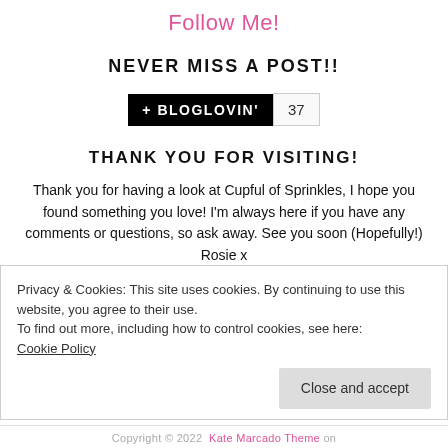Follow Me!
NEVER MISS A POST!!
[Figure (other): Bloglovin follow button with count: + BLOGLOVIN' | 37]
THANK YOU FOR VISITING!
Thank you for having a look at Cupful of Sprinkles, I hope you found something you love! I'm always here if you have any comments or questions, so ask away. See you soon (Hopefully!) Rosie x
Privacy & Cookies: This site uses cookies. By continuing to use this website, you agree to their use.
To find out more, including how to control cookies, see here: Cookie Policy
Copyright © 2022  Kate Marcado Theme on